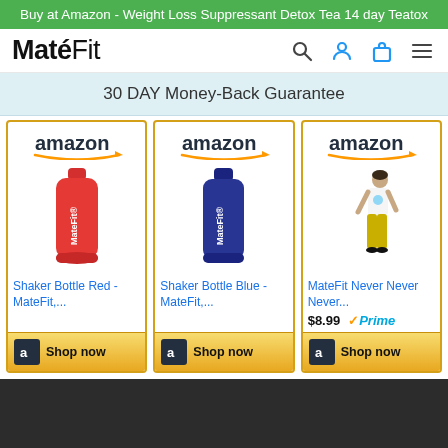Buy at Amazon - Weight Loss Suppressant Detox Tea 14 day Teatox
[Figure (logo): MateFit logo with green leaf accent]
30 DAY Money-Back Guarantee
[Figure (screenshot): Amazon product listing: Shaker Bottle Red - MateFit,... with Shop now button]
[Figure (screenshot): Amazon product listing: Shaker Bottle Blue - MateFit,... with Shop now button]
[Figure (screenshot): Amazon product listing: MateFit Never Never Never... $8.99 Prime with Shop now button]